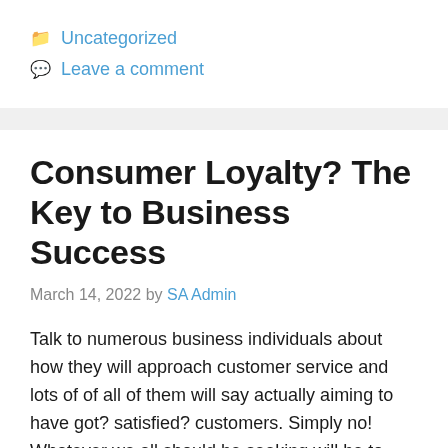Uncategorized
Leave a comment
Consumer Loyalty? The Key to Business Success
March 14, 2022 by SA Admin
Talk to numerous business individuals about how they will approach customer service and lots of of all of them will say actually aiming to have got? satisfied? customers. Simply no! Whatever we all should be seeking will be to have faithful customers. Research